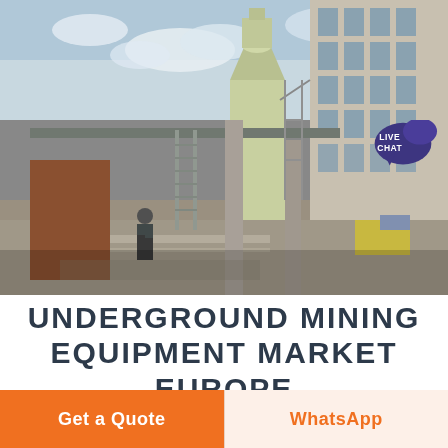[Figure (photo): Industrial/mining facility under construction or operation — showing heavy equipment, scaffolding, silos or dust collectors, columns, workers, and industrial buildings in an outdoor yard setting. A 'LIVE CHAT' speech bubble badge is overlaid in the top-right corner.]
UNDERGROUND MINING EQUIPMENT MARKET EUROPE